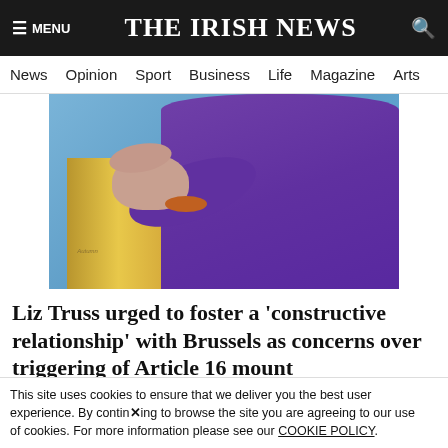THE IRISH NEWS
News  Opinion  Sport  Business  Life  Magazine  Arts
[Figure (photo): A person in a purple outfit speaking at a wooden podium against a blue background, gesturing with one hand.]
Liz Truss urged to foster a 'constructive relationship' with Brussels as concerns over triggering of Article 16 mount
Funeral of Jack de Bromhead to take place in Co Waterford tomorrow
LIFE
This site uses cookies to ensure that we deliver you the best user experience. By continuing to browse the site you are agreeing to our use of cookies. For more information please see our COOKIE POLICY.